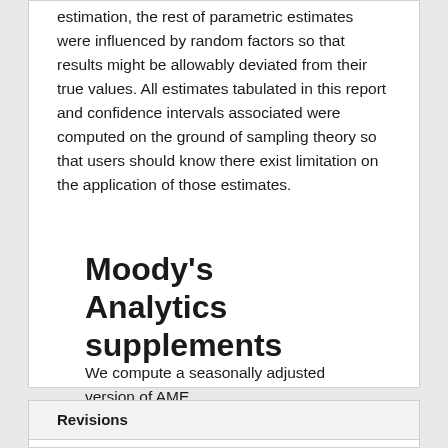estimation, the rest of parametric estimates were influenced by random factors so that results might be allowably deviated from their true values. All estimates tabulated in this report and confidence intervals associated were computed on the ground of sampling theory so that users should know there exist limitation on the application of those estimates.
Moody's Analytics supplements
We compute a seasonally adjusted version of AME.
Revisions